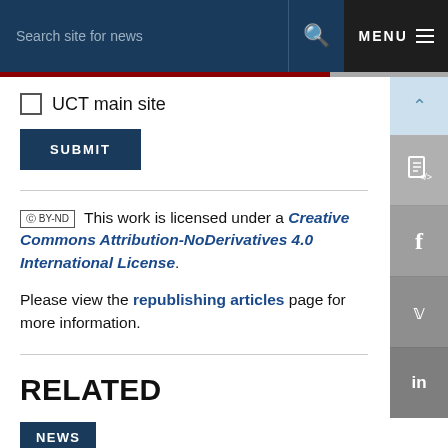Search site for news  🔍  MENU ≡
☐ UCT main site
SUBMIT
This work is licensed under a Creative Commons Attribution-NoDerivatives 4.0 International License.
Please view the republishing articles page for more information.
RELATED
NEWS